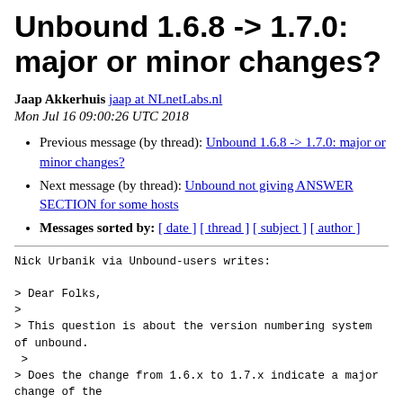Unbound 1.6.8 -> 1.7.0: major or minor changes?
Jaap Akkerhuis jaap at NLnetLabs.nl
Mon Jul 16 09:00:26 UTC 2018
Previous message (by thread): Unbound 1.6.8 -> 1.7.0: major or minor changes?
Next message (by thread): Unbound not giving ANSWER SECTION for some hosts
Messages sorted by: [ date ] [ thread ] [ subject ] [ author ]
Nick Urbanik via Unbound-users writes:

> Dear Folks,
>
> This question is about the version numbering system of unbound.
 >
> Does the change from 1.6.x to 1.7.x indicate a major change of the
> software, or is it an incremental change in the way that 1.6.8 was an
 > incremental change from 1.6.7?